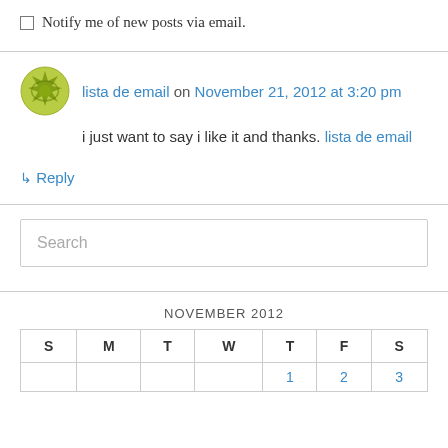Notify me of new posts via email.
lista de email on November 21, 2012 at 3:20 pm
i just want to say i like it and thanks. lista de email
↳ Reply
Search
NOVEMBER 2012
| S | M | T | W | T | F | S |
| --- | --- | --- | --- | --- | --- | --- |
|  |  |  |  |  |  |  |
|  |  |  |  | 1 | 2 | 3 |